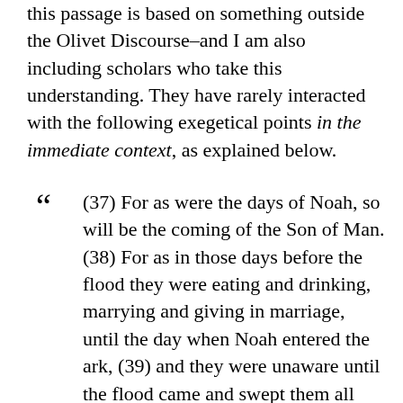this passage is based on something outside the Olivet Discourse–and I am also including scholars who take this understanding. They have rarely interacted with the following exegetical points in the immediate context, as explained below.
“ (37) For as were the days of Noah, so will be the coming of the Son of Man. (38) For as in those days before the flood they were eating and drinking, marrying and giving in marriage, until the day when Noah entered the ark, (39) and they were unaware until the flood came and swept them all away, so will be the coming of the